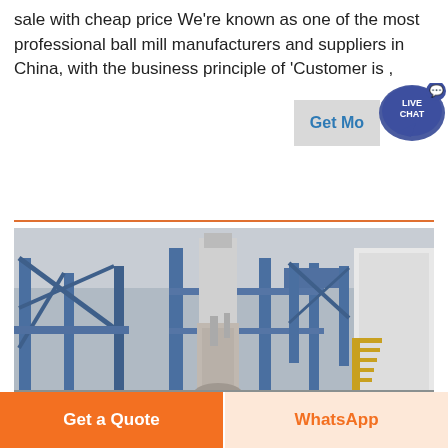sale with cheap price We're known as one of the most professional ball mill manufacturers and suppliers in China, with the business principle of 'Customer is ,
[Figure (photo): Industrial ball mill / vertical roller mill facility with large blue steel structure, central vertical grinding tower, piping, conveyors, and yellow stairway visible outdoors]
Get More
LIVE CHAT
Get a Quote
WhatsApp